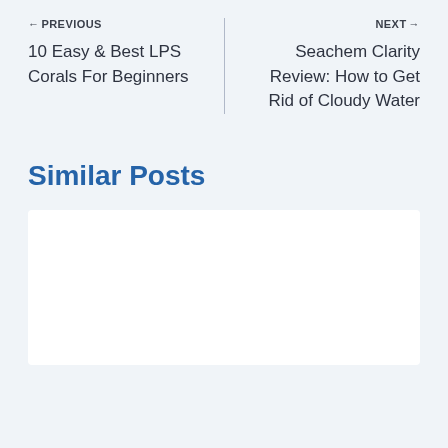← PREVIOUS
10 Easy & Best LPS Corals For Beginners
NEXT →
Seachem Clarity Review: How to Get Rid of Cloudy Water
Similar Posts
[Figure (other): Empty white card placeholder for a similar post]